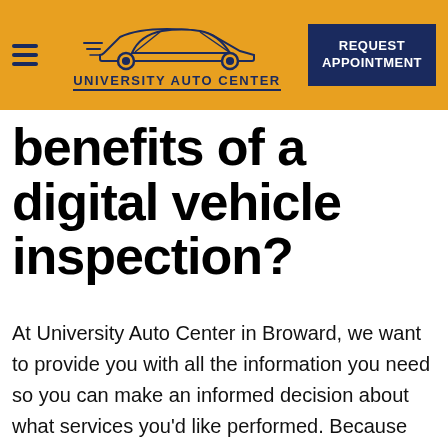[Figure (logo): University Auto Center logo with car silhouette graphic and text 'UNIVERSITY AUTO CENTER' in navy blue on orange background]
benefits of a digital vehicle inspection?
At University Auto Center in Broward, we want to provide you with all the information you need so you can make an informed decision about what services you'd like performed. Because the decision is ultimately yours, there are no surprise fees for services you did not request. You have complete knowledge of the overall